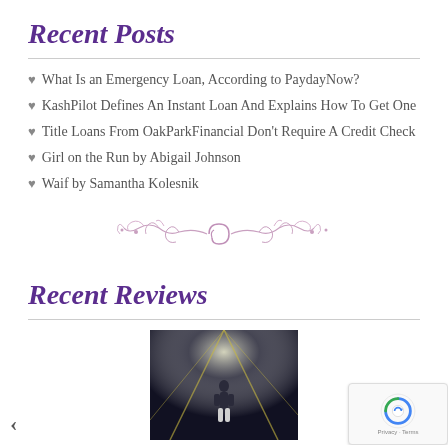Recent Posts
♥ What Is an Emergency Loan, According to PaydayNow?
♥ KashPilot Defines An Instant Loan And Explains How To Get One
♥ Title Loans From OakParkFinancial Don't Require A Credit Check
♥ Girl on the Run by Abigail Johnson
♥ Waif by Samantha Kolesnik
[Figure (illustration): Decorative ornamental divider with floral/scroll design in pink/mauve color]
Recent Reviews
[Figure (photo): Dark atmospheric photo of a person standing under spotlights with diagonal light beams]